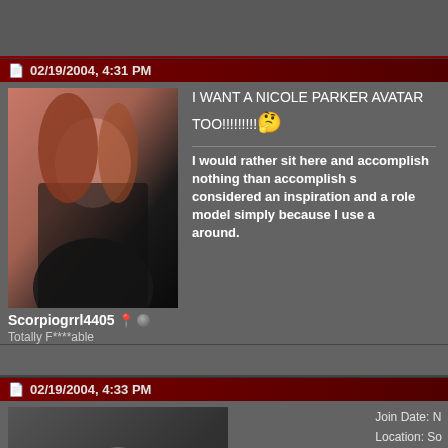02/19/2004, 4:31 PM
Scorpiogrrl4405
Totally F****able
I WANT A NICOLE PARKER AVATAR TOO!!!!!!!!!
I would rather sit here and accomplish nothing than accomplish s... considered an inspiration and a role model simply because I use a... around.
02/19/2004, 4:33 PM
Knickers
0ld sk00l
Join Date: N
Location: So
Posts: 4,638